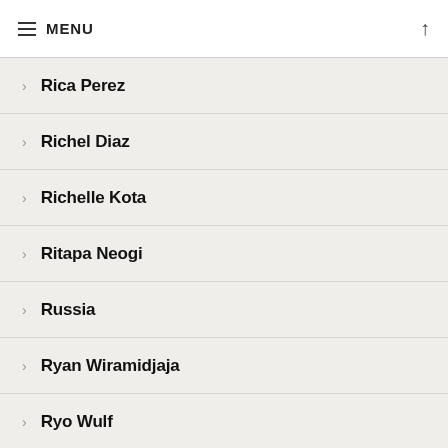MENU
Rica Perez
Richel Diaz
Richelle Kota
Ritapa Neogi
Russia
Ryan Wiramidjaja
Ryo Wulf
Saint Louis University Madrid
Sam Trilling
Samantha Patterson
Sarah Bergstein